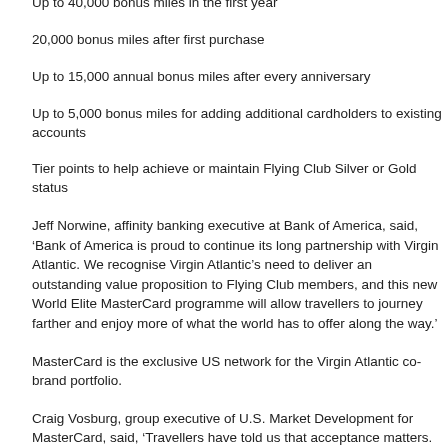Up to 40,000 bonus miles in the first year
20,000 bonus miles after first purchase
Up to 15,000 annual bonus miles after every anniversary
Up to 5,000 bonus miles for adding additional cardholders to existing accounts
Tier points to help achieve or maintain Flying Club Silver or Gold status
Jeff Norwine, affinity banking executive at Bank of America, said, ‘Bank of America is proud to continue its long partnership with Virgin Atlantic. We recognise Virgin Atlantic’s need to deliver an outstanding value proposition to Flying Club members, and this new World Elite MasterCard programme will allow travellers to journey farther and enjoy more of what the world has to offer along the way.’
MasterCard is the exclusive US network for the Virgin Atlantic co-brand portfolio.
Craig Vosburg, group executive of U.S. Market Development for MasterCard, said, ‘Travellers have told us that acceptance matters. This understanding of core traveller needs-combined with MasterCard’s global acceptance footprint-serves as the foundation for a strong value proposition for Virgin Atlantic flyers.’